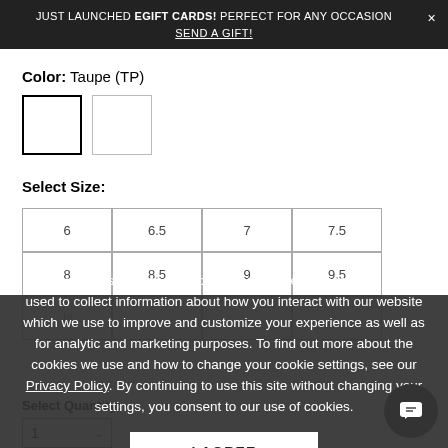JUST LAUNCHED EGIFT CARDS! PERFECT FOR ANY OCCASION × SEND A GIFT!
Color: Taupe (TP)
[Figure (other): Two white color swatch squares with black borders for color selection]
Select Size:
[Figure (other): Size selection grid with sizes 6, 6.5, 7, 7.5, 8, 8.5, 9, 9.5, and a partially visible row]
This website stores cookies on your computer. These cookies are used to collect information about how you interact with our website which we use to improve and customize your experience as well as for analytic and marketing purposes. To find out more about the cookies we use and how to change your cookie settings, see our Privacy Policy. By continuing to use this site without changing your settings, you consent to our use of cookies.
I AGREE
Select Quantity:
1